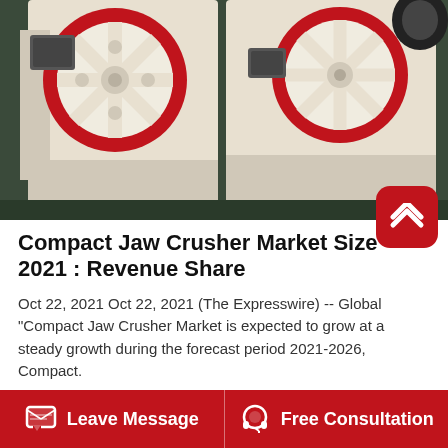[Figure (photo): Industrial jaw crusher machines with large red-rimmed flywheels on a factory floor, cream/white colored housing]
Compact Jaw Crusher Market Size 2021 : Revenue Share
Oct 22, 2021 Oct 22, 2021 (The Expresswire) -- Global “Compact Jaw Crusher Market is expected to grow at a steady growth during the forecast period 2021-2026, Compact.
[Figure (photo): Industrial warehouse or factory interior with pillars and metal framework structure]
Leave Message   Free Consultation